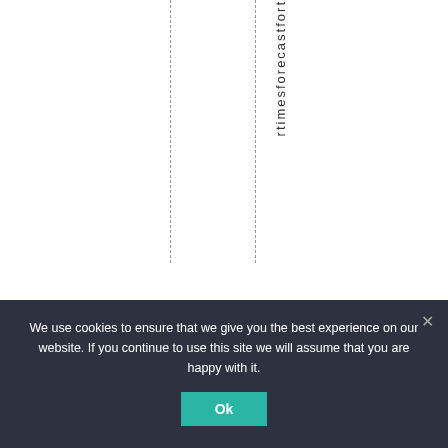[Figure (other): White area with three vertical dashed lines and vertical text reading 'rtimesforecastfort' running top to bottom near right side]
We use cookies to ensure that we give you the best experience on our website. If you continue to use this site we will assume that you are happy with it.
Ok